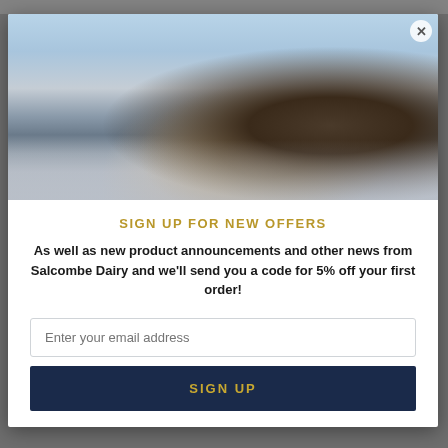[Figure (photo): Product photo showing a chocolate bar with rope wrapping on a beach background with rocky coastline]
SIGN UP FOR NEW OFFERS
As well as new product announcements and other news from Salcombe Dairy and we'll send you a code for 5% off your first order!